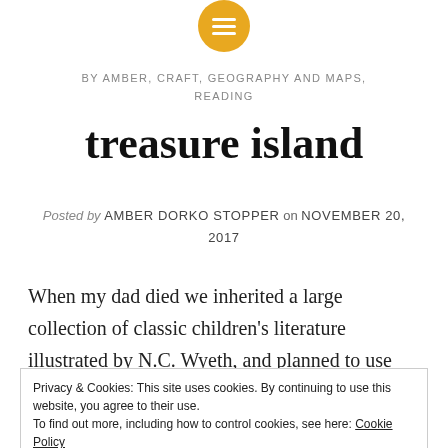[Figure (logo): Orange circle with white text/menu icon at top center]
BY AMBER, CRAFT, GEOGRAPHY AND MAPS, READING
treasure island
Posted by AMBER DORKO STOPPER on NOVEMBER 20, 2017
When my dad died we inherited a large collection of classic children’s literature illustrated by N.C. Wyeth, and planned to use much of it for out-loud reading —
Privacy & Cookies: This site uses cookies. By continuing to use this website, you agree to their use. To find out more, including how to control cookies, see here: Cookie Policy
Close and accept
surprised they understand anything at all. Then again